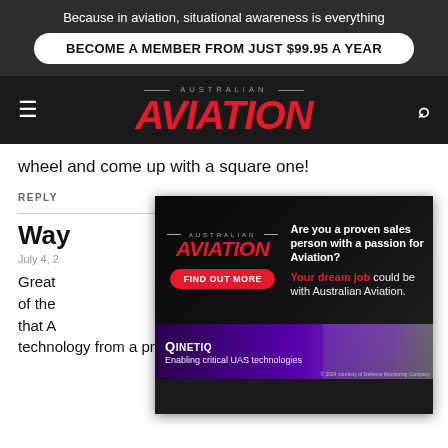Because in aviation, situational awareness is everything
BECOME A MEMBER FROM JUST $99.95 A YEAR
AUSTRALIAN AVIATION
wheel and come up with a square one!
REPLY
Way
July 4, 2
Great… urity of the… nt that A… en technology from a proven supplier. Good enough for
[Figure (infographic): Australian Aviation jobs advertisement overlay. Top half shows Australian Aviation logo in red italic on dark background, with 'FIND OUT MORE' red button. Right side asks 'Are you a proven sales person with a passion for Aviation? Your dream job could be with Australian Aviation.' Bottom half shows QinetiQ purple banner with text 'Enabling critical UAS technologies' and drone imagery.]